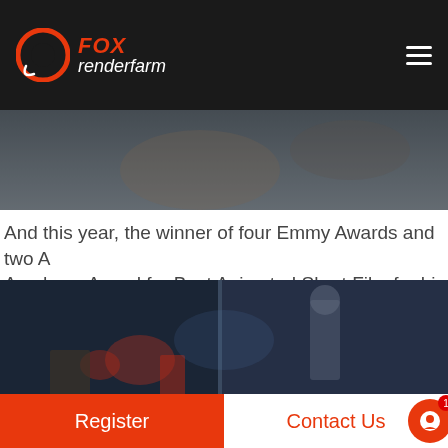[Figure (logo): Fox Renderfarm logo with orange circular icon and text 'FOX renderfarm' in dark header bar]
[Figure (photo): Hero image strip showing outdoor rocky/landscape scene in muted tones]
And this year, the winner of four Emmy Awards and two A Academy Award for Best Animated Short Film for his wor
[Figure (photo): Dark blue-toned cinematic image showing sci-fi/fantasy characters including a robot/armor figure, with a chat popup overlay]
Welcome to our site, if you need help, please kindly add our official skype:foxrenderfarm(invitation link:
Register    Contact Us